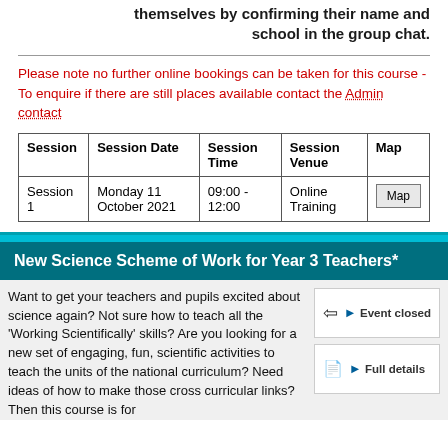themselves by confirming their name and school in the group chat.
Please note no further online bookings can be taken for this course - To enquire if there are still places available contact the Admin contact
| Session | Session Date | Session Time | Session Venue | Map |
| --- | --- | --- | --- | --- |
| Session 1 | Monday 11 October 2021 | 09:00 - 12:00 | Online Training | Map |
New Science Scheme of Work for Year 3 Teachers*
Want to get your teachers and pupils excited about science again? Not sure how to teach all the 'Working Scientifically' skills? Are you looking for a new set of engaging, fun, scientific activities to teach the units of the national curriculum? Need ideas of how to make those cross curricular links? Then this course is for
Event closed
Full details